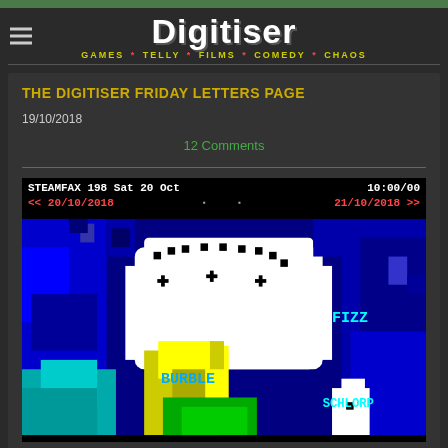Digitiser — GAMES * TELLY * FILMS * COMEDY * CHAOS
THE DIGITISER FRIDAY LETTERS PAGE
19/10/2018
12 Comments
[Figure (screenshot): Teletext-style pixel art screenshot showing STEAMFAX 198 Sat 20 Oct 10:00/00, navigation arrows with dates 20/10/2018 and 21/10/2018, and a colorful pixel art image with labels FIZZ, BURBLE, and SCHLORP]